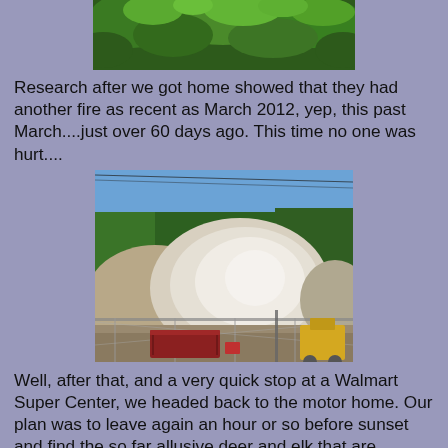[Figure (photo): Partial photo of dense green forest/trees at the top of the page, cropped to show only the upper portion]
Research after we got home showed that they had another fire as recent as March 2012, yep, this past March....just over 60 days ago.  This time no one was hurt....
[Figure (photo): Outdoor photo showing a mining or quarry site with large white/grey rocky mounds, a chain-link fence, a red dumpster/container, yellow construction equipment, and dense pine forest and blue sky in the background]
Well, after that, and a very quick stop at a Walmart Super Center, we headed back to the motor home.  Our plan was to leave again an hour or so before sunset and find the so far allusive deer and elk that are suppose to be plentiful in the area.  In fact, at the very beginning of our day trip, we turned right onto Wolf Lodge Creek Road before coming to I-90 as